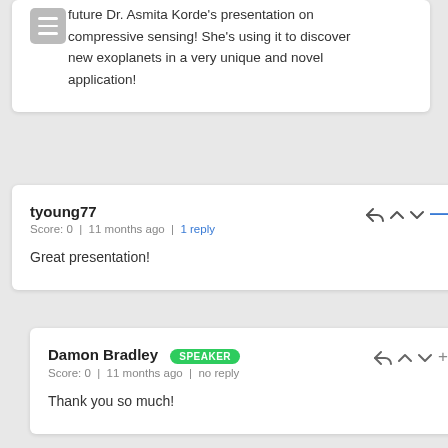future Dr. Asmita Korde's presentation on compressive sensing! She's using it to discover new exoplanets in a very unique and novel application!
tyoung77
Score: 0 | 11 months ago | 1 reply
Great presentation!
Damon Bradley [SPEAKER]
Score: 0 | 11 months ago | no reply
Thank you so much!